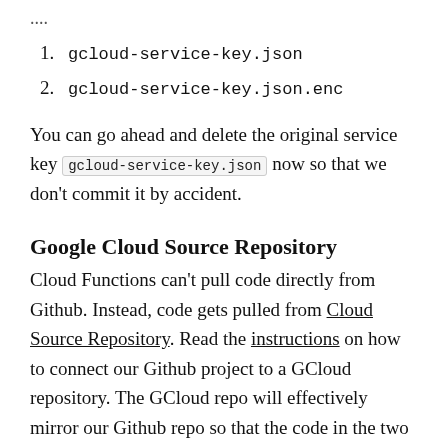1. gcloud-service-key.json
2. gcloud-service-key.json.enc
You can go ahead and delete the original service key gcloud-service-key.json now so that we don't commit it by accident.
Google Cloud Source Repository
Cloud Functions can't pull code directly from Github. Instead, code gets pulled from Cloud Source Repository. Read the instructions on how to connect our Github project to a GCloud repository. The GCloud repo will effectively mirror our Github repo so that the code in the two will be identical at all times.